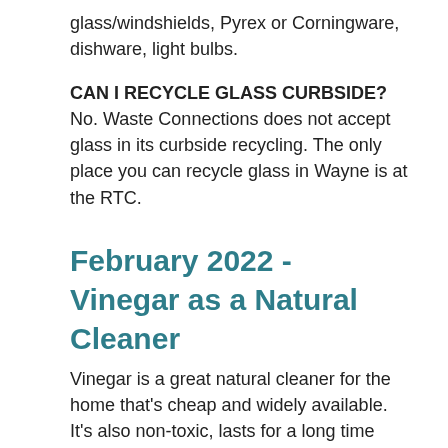glass/windshields, Pyrex or Corningware, dishware, light bulbs.
CAN I RECYCLE GLASS CURBSIDE? No. Waste Connections does not accept glass in its curbside recycling. The only place you can recycle glass in Wayne is at the RTC.
February 2022 - Vinegar as a Natural Cleaner
Vinegar is a great natural cleaner for the home that's cheap and widely available. It's also non-toxic, lasts for a long time without losing strength, and is much safer to have under your sink than bleach, ammonia, or other toxic cleaning products. Here are three green cleaning recipes for you to try out in the home.
(1) Tile: mix a paste of baking soda and vinegar then scrub on tile. Rinse with warm water.